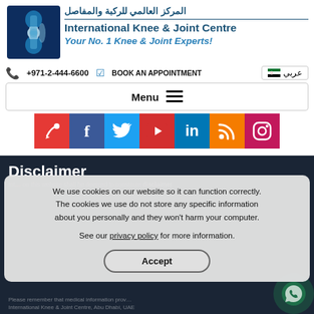[Figure (logo): International Knee & Joint Centre logo — blue square with stylized knee joint graphic]
المركز العالمي للركبة والمفاصل
International Knee & Joint Centre
Your No. 1 Knee & Joint Experts!
+971-2-444-6600   BOOK AN APPOINTMENT   عربي
Menu ☰
[Figure (infographic): Social media icons row: custom icon (red), Facebook (dark blue), Twitter (light blue), YouTube (red), LinkedIn (blue), RSS (orange), Instagram (magenta/pink)]
Disclaimer
We use cookies on our website so it can function correctly. The cookies we use do not store any specific information about you personally and they won't harm your computer.

See our privacy policy for more information.
Accept
Please remember that medical information provided by International Knee & Joint Centre, Abu Dhabi, UAE